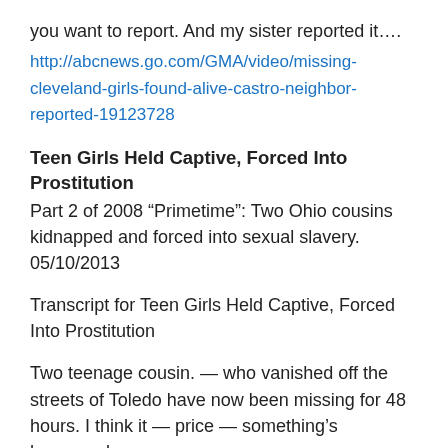you want to report. And my sister reported it….
http://abcnews.go.com/GMA/video/missing-cleveland-girls-found-alive-castro-neighbor-reported-19123728
Teen Girls Held Captive, Forced Into Prostitution
Part 2 of 2008 “Primetime”: Two Ohio cousins kidnapped and forced into sexual slavery.
05/10/2013
Transcript for Teen Girls Held Captive, Forced Into Prostitution
Two teenage cousin. — who vanished off the streets of Toledo have now been missing for 48 hours. I think it — price — something’s happened.
Police think the girls ages fourteen and fifteen have probably run away in the most likely come home soon —